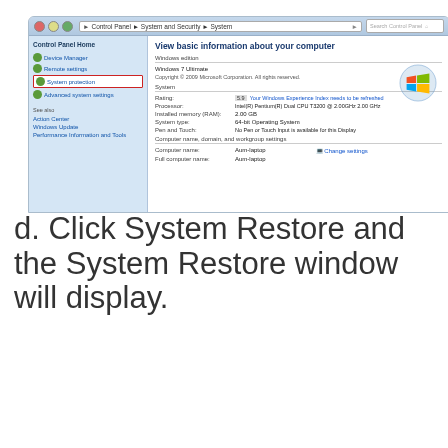[Figure (screenshot): Windows 7 System Control Panel showing System Protection highlighted in the left navigation panel with a red border. The right panel shows Windows edition information (Windows 7 Ultimate), system specs including Intel Pentium Dual CPU, 2.00 GB RAM, 64-bit OS, and computer name Aum-laptop.]
d. Click System Restore and the System Restore window will display.
[Figure (screenshot): System Properties dialog box showing tabs: Computer Name, Hardware, Advanced, System Protection (active), Remote. The body shows text: You can use restore points to undo unwanted system changes. How much disk space is required?]